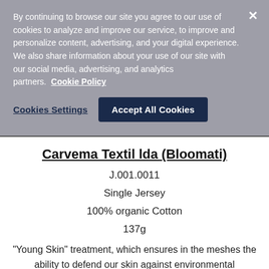By continuing to browse our site you agree to our use of cookies to analyze and improve our service, to improve and personalize content, advertising, and your digital experience. We also share information about your use of our site with our social media, advertising, and analytics partners.  Cookie Policy
Cookies Settings
Accept All Cookies
Carvema Textil lda (Bloomati)
J.001.0011
Single Jersey
100% organic Cotton
137g
"Young Skin" treatment, which ensures in the meshes the ability to defend our skin against environmental aggressions.